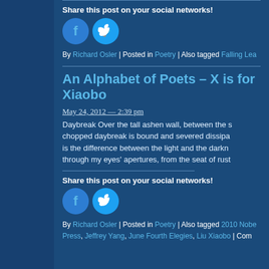Share this post on your social networks!
[Figure (illustration): Facebook and Twitter social share circular icon buttons]
By Richard Osler | Posted in Poetry | Also tagged Falling Lea...
An Alphabet of Poets – X is for Xiaobo
May 24, 2012 — 2:39 pm
Daybreak Over the tall ashen wall, between the s chopped daybreak is bound and severed dissipa is the difference between the light and the darkn through my eyes' apertures, from the seat of rust
Share this post on your social networks!
[Figure (illustration): Facebook and Twitter social share circular icon buttons]
By Richard Osler | Posted in Poetry | Also tagged 2010 Nobe Press, Jeffrey Yang, June Fourth Elegies, Liu Xiaobo | Com...